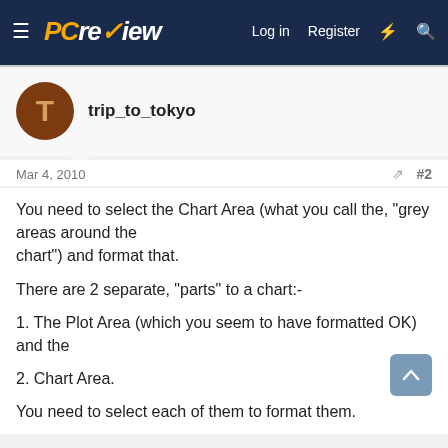PC review — Log in  Register
trip_to_tokyo
Mar 4, 2010  #2
You need to select the Chart Area (what you call the, "grey areas around the
chart") and format that.

There are 2 separate, "parts" to a chart:-

1. The Plot Area (which you seem to have formatted OK) and the

2. Chart Area.

You need to select each of them to format them.